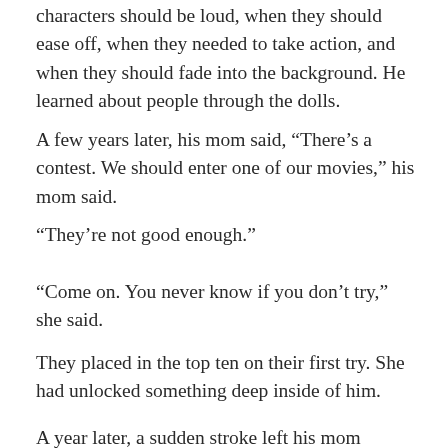characters should be loud, when they should ease off, when they needed to take action, and when they should fade into the background. He learned about people through the dolls.
A few years later, his mom said, “There’s a contest. We should enter one of our movies,” his mom said.
“They’re not good enough.”
“Come on. You never know if you don’t try,” she said.
They placed in the top ten on their first try. She had unlocked something deep inside of him.
A year later, a sudden stroke left his mom